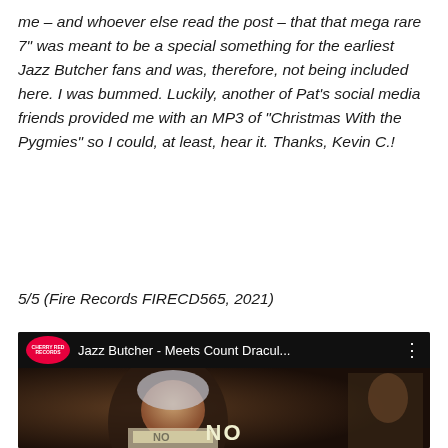me – and whoever else read the post – that that mega rare 7" was meant to be a special something for the earliest Jazz Butcher fans and was, therefore, not being included here. I was bummed. Luckily, another of Pat's social media friends provided me with an MP3 of "Christmas With the Pygmies" so I could, at least, hear it. Thanks, Kevin C.!
5/5 (Fire Records FIRECD565, 2021)
[Figure (screenshot): YouTube video thumbnail showing Jazz Butcher - Meets Count Dracul... with Cherry Red Records logo. Dark thumbnail with a person wearing sunglasses and a helmet/hat, holding a sign that says NO. A play button is overlaid in the center.]